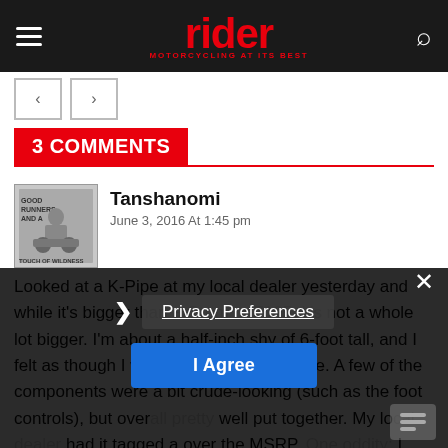rider — MOTORCYCLING AT ITS BEST
3 COMMENTS
Tanshanomi
June 3, 2016 At 1:45 pm
Looked at a K-Pipe at my local dealer yesterday and while it's bigger than a Grom or Z125, it's not a whole lot bigger. I'm about a half-inch shy of 6-foot tall, and I felt as though I was sitting on a BMX bike. A few of the components were a bit crude-looking (such as the foot controls), but overall pretty well put together. My local dealer had it tagged a over the MSRP. One oddity: I was told th
Privacy Preferences
I Agree